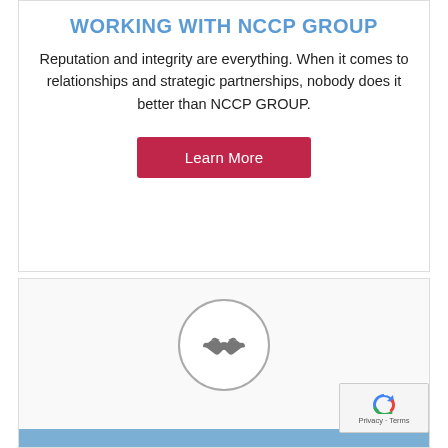WORKING WITH NCCP GROUP
Reputation and integrity are everything. When it comes to relationships and strategic partnerships, nobody does it better than NCCP GROUP.
Learn More
[Figure (illustration): Circular icon with a handshake symbol in grey, inside a grey-bordered circle on a light background.]